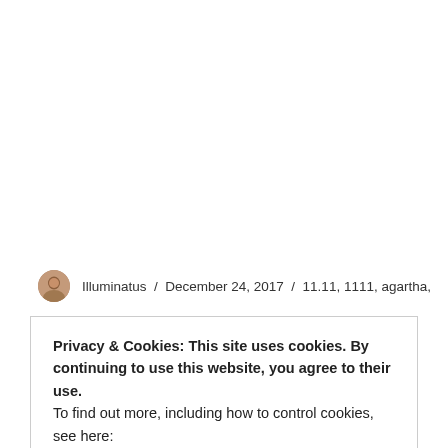[Figure (photo): Large white/blank area at top of page — image content not visible]
Illuminatus / December 24, 2017 / 11.11, 1111, agartha,
Privacy & Cookies: This site uses cookies. By continuing to use this website, you agree to their use.
To find out more, including how to control cookies, see here:
Cookie Policy
Close and accept
gaia, ganapati, ganesh, ganesha, god, godly, grateful,
gratitude, ...